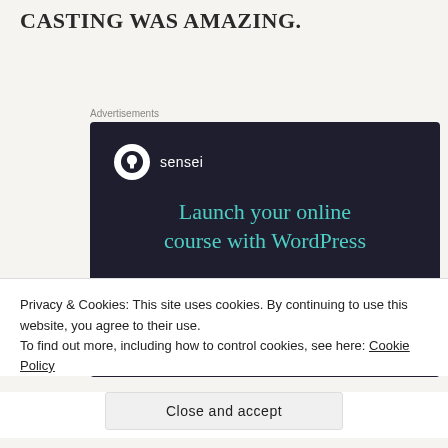CASTING WAS AMAZING.
Advertisements
[Figure (illustration): Sensei advertisement banner with dark navy background. Shows 'sensei' logo with a white circle icon, headline text 'Launch your online course with WordPress' in teal color, and a teal 'Learn More' button.]
Privacy & Cookies: This site uses cookies. By continuing to use this website, you agree to their use.
To find out more, including how to control cookies, see here: Cookie Policy
Close and accept